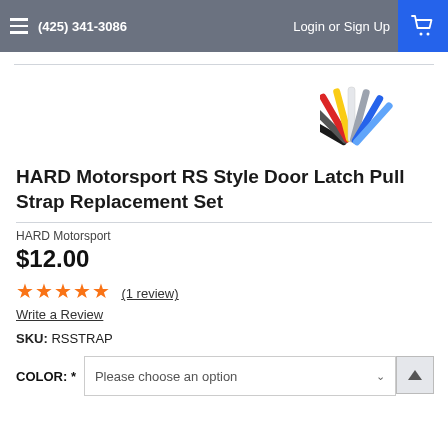(425) 341-3086   Login or Sign Up
[Figure (photo): Fan of colorful door latch pull straps in multiple colors including red, yellow, black, white, blue and others]
HARD Motorsport RS Style Door Latch Pull Strap Replacement Set
HARD Motorsport
$12.00
★★★★★ (1 review) Write a Review
SKU: RSSTRAP
COLOR: * Please choose an option